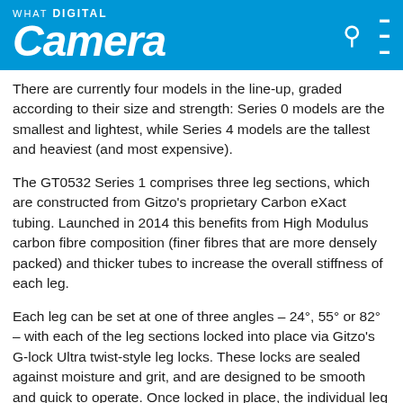What Digital Camera
There are currently four models in the line-up, graded according to their size and strength: Series 0 models are the smallest and lightest, while Series 4 models are the tallest and heaviest (and most expensive).
The GT0532 Series 1 comprises three leg sections, which are constructed from Gitzo's proprietary Carbon eXact tubing. Launched in 2014 this benefits from High Modulus carbon fibre composition (finer fibres that are more densely packed) and thicker tubes to increase the overall stiffness of each leg.
Each leg can be set at one of three angles – 24°, 55° or 82° – with each of the leg sections locked into place via Gitzo's G-lock Ultra twist-style leg locks. These locks are sealed against moisture and grit, and are designed to be smooth and quick to operate. Once locked in place, the individual leg sections will not budge or creep.